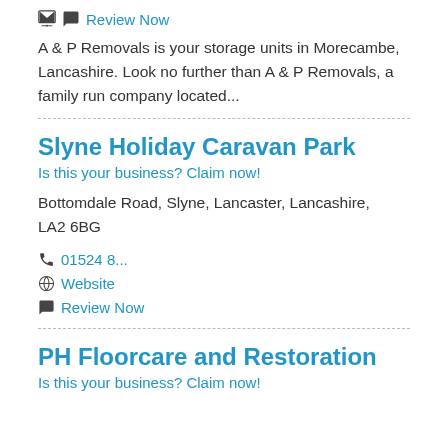Review Now
A & P Removals is your storage units in Morecambe, Lancashire. Look no further than A & P Removals, a family run company located...
Slyne Holiday Caravan Park
Is this your business? Claim now!
Bottomdale Road, Slyne, Lancaster, Lancashire, LA2 6BG
01524 8...
Website
Review Now
PH Floorcare and Restoration
Is this your business? Claim now!